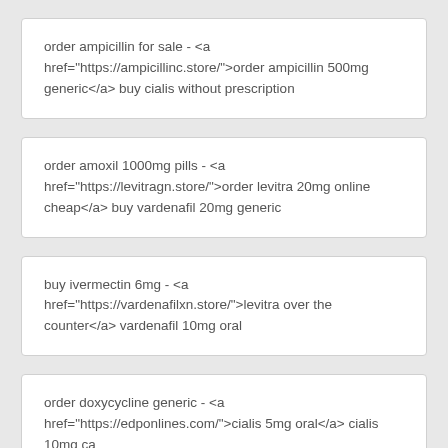order ampicillin for sale - <a href="https://ampicillinc.store/">order ampicillin 500mg generic</a> buy cialis without prescription
order amoxil 1000mg pills - <a href="https://levitragn.store/">order levitra 20mg online cheap</a> buy vardenafil 20mg generic
buy ivermectin 6mg - <a href="https://vardenafilxn.store/">levitra over the counter</a> vardenafil 10mg oral
order doxycycline generic - <a href="https://edponlines.com/">cialis 5mg oral</a> cialis 10mg ca